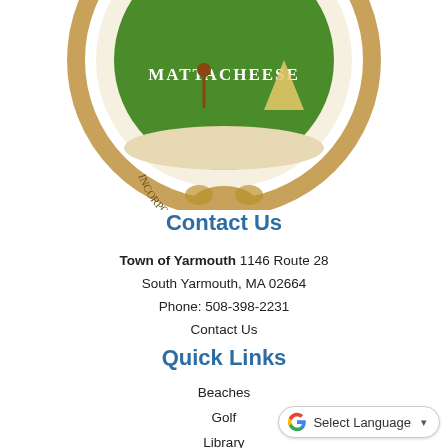[Figure (illustration): Partial view of the Town of Yarmouth official seal showing MATTACHEESE and INCORPORATED 1639 text, with a circular rope border, green interior with Native American figures and teepee, on a white background]
Contact Us
Town of Yarmouth 1146 Route 28
South Yarmouth, MA 02664
Phone: 508-398-2231
Contact Us
Quick Links
Beaches
Golf
Library